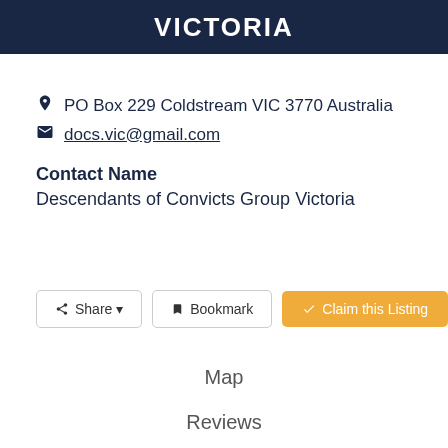VICTORIA
PO Box 229 Coldstream VIC 3770 Australia
docs.vic@gmail.com
Contact Name
Descendants of Convicts Group Victoria
Share  Bookmark  Claim this Listing
Map
Reviews